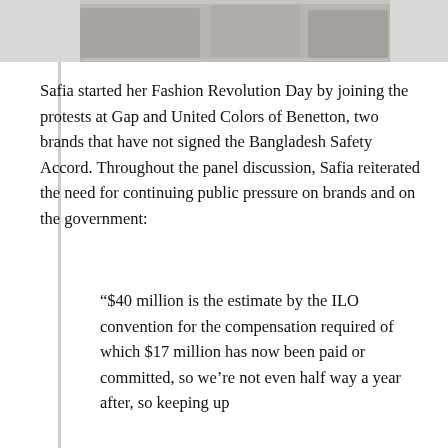[Figure (photo): Partial view of a photo showing people gathered around a table with papers/photos, cropped at top of page]
Safia started her Fashion Revolution Day by joining the protests at Gap and United Colors of Benetton, two brands that have not signed the Bangladesh Safety Accord. Throughout the panel discussion, Safia reiterated the need for continuing public pressure on brands and on the government:
“$40 million is the estimate by the ILO convention for the compensation required of which $17 million has now been paid or committed, so we’re not even half way a year after, so keeping up